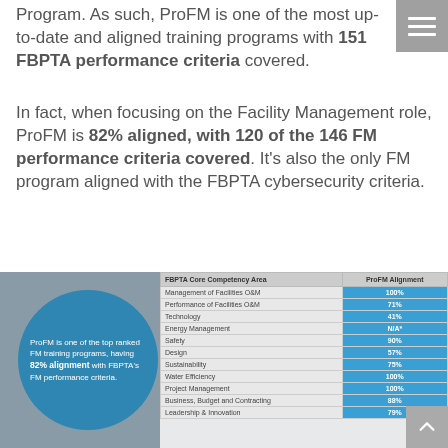Program. As such, ProFM is one of the most up-to-date and aligned training programs with 151 FBPTA performance criteria covered. In fact, when focusing on the Facility Management role, ProFM is 82% aligned, with 120 of the 146 FM performance criteria covered. It's also the only FM program aligned with the FBPTA cybersecurity criteria.
[Figure (infographic): Infographic showing a table of FBPTA Core Competency Areas with ProFM Alignment percentages. A blue circle overlay reads: 'ProFM is one of the top ranked FM training programs, having 82% alignment with FBPTA's FM performance criteria.' Table rows: Management of Facilities O&M 100%, Performance of Facilities O&M 71%, Technology 41%, Energy Management N/A*, Safety 90%, Design 57%, Sustainability 75%, Water Efficiency 100%, Project Management 100%, Business, Budget and Contracting 88%, Leadership & Innovation 79%.]